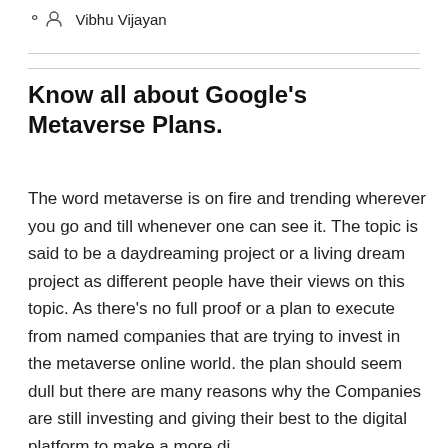Vibhu Vijayan
Know all about Google's Metaverse Plans.
The word metaverse is on fire and trending wherever you go and till whenever one can see it. The topic is said to be a daydreaming project or a living dream project as different people have their views on this topic. As there's no full proof or a plan to execute from named companies that are trying to invest in the metaverse online world. the plan should seem dull but there are many reasons why the Companies are still investing and giving their best to the digital platform to make a more di...